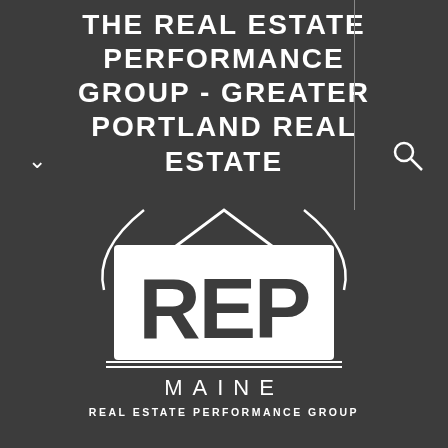THE REAL ESTATE PERFORMANCE GROUP - GREATER PORTLAND REAL ESTATE
[Figure (logo): REP Maine logo — house roofline silhouette with decorative curved lines, large white letters REP, double horizontal lines, word MAINE in spaced caps, and tagline REAL ESTATE PERFORMANCE GROUP below]